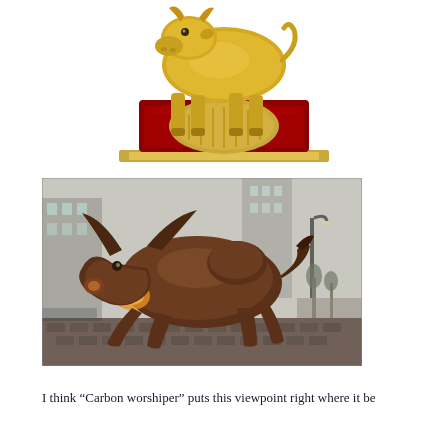[Figure (photo): A golden calf statue on a red and gold ornate base, viewed from the front, partially cropped at the top — appears to be a decorative religious or symbolic figurine with intricate patterns]
[Figure (photo): The Charging Bull bronze sculpture on Wall Street, New York City — a large bronze bull lunging forward aggressively on cobblestone street with buildings in background]
I think “Carbon worshiper” puts this viewpoint right where it be